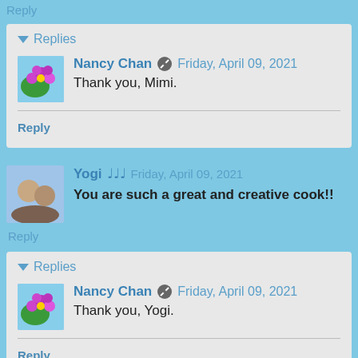Reply
Replies
Nancy Chan  Friday, April 09, 2021
Thank you, Mimi.
Reply
Yogi  Friday, April 09, 2021
You are such a great and creative cook!!
Reply
Replies
Nancy Chan  Friday, April 09, 2021
Thank you, Yogi.
Reply